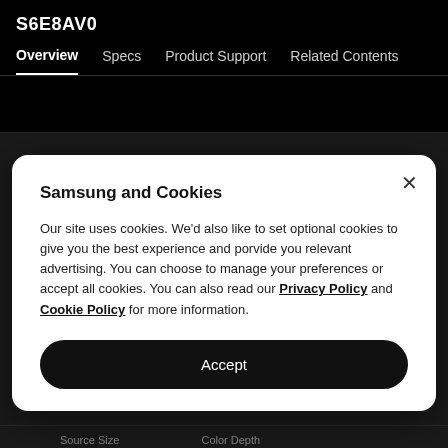S6E8AV0
Overview  Specs  Product Support  Related Contents
Samsung and Cookies
Our site uses cookies. We'd also like to set optional cookies to give you the best experience and porvide you relevant advertising. You can choose to manage your preferences or accept all cookies. You can also read our Privacy Policy and Cookie Policy for more information.
Accept
Source Size
1280/1024
Color Depth
1670K